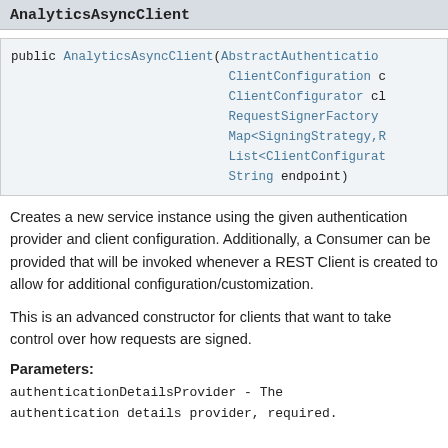AnalyticsAsyncClient
public AnalyticsAsyncClient(AbstractAuthenticationCo
                            ClientConfiguration c
                            ClientConfigurator cl
                            RequestSignerFactory
                            Map<SigningStrategy,R
                            List<ClientConfigurat
                            String endpoint)
Creates a new service instance using the given authentication provider and client configuration. Additionally, a Consumer can be provided that will be invoked whenever a REST Client is created to allow for additional configuration/customization.
This is an advanced constructor for clients that want to take control over how requests are signed.
Parameters:
authenticationDetailsProvider - The authentication details provider, required.